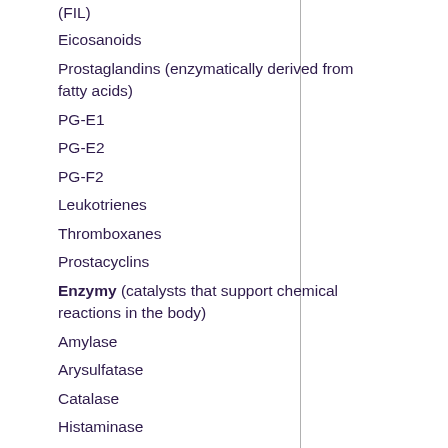(FIL)
Eicosanoids
Prostaglandins (enzymatically derived from fatty acids)
PG-E1
PG-E2
PG-F2
Leukotrienes
Thromboxanes
Prostacyclins
Enzymy (catalysts that support chemical reactions in the body)
Amylase
Arysulfatase
Catalase
Histaminase
Lipase